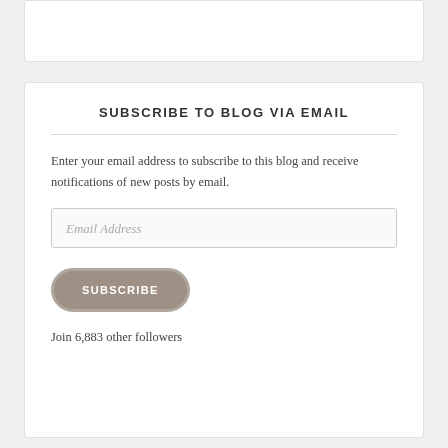SUBSCRIBE TO BLOG VIA EMAIL
Enter your email address to subscribe to this blog and receive notifications of new posts by email.
Join 6,883 other followers